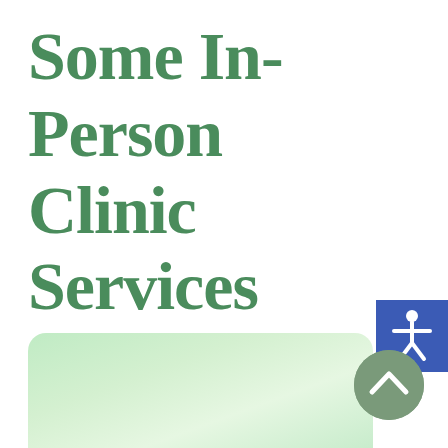Some In-Person Clinic Services
[Figure (illustration): Accessibility icon on blue background — white human figure with arms outstretched]
[Figure (illustration): Light green rounded card/banner at the bottom of the page, partially visible]
[Figure (illustration): Gray circular scroll-to-top button with an upward chevron arrow]